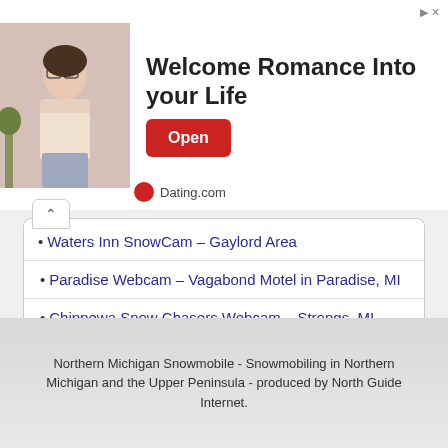[Figure (illustration): Advertisement banner for Dating.com showing a photo of a woman and headline 'Welcome Romance Into your Life' with an Open button]
Waters Inn SnowCam – Gaylord Area
Paradise Webcam – Vagabond Motel in Paradise, MI
Chippewa Snow Chasers Webcam – Strongs, MI
Web Cam on Lake Gogebic
Watersmeet WebCam – Western U.P.
Northern Michigan Snowmobile - Snowmobiling in Northern Michigan and the Upper Peninsula - produced by North Guide Internet.